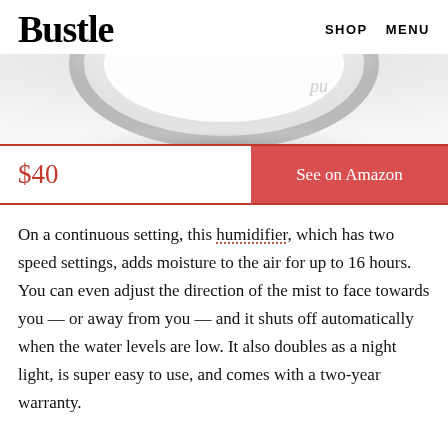Bustle   SHOP   MENU
[Figure (photo): Partial top view of a white humidifier product, showing a circular top with soft lighting on a white/gray background]
$40
See on Amazon
On a continuous setting, this humidifier, which has two speed settings, adds moisture to the air for up to 16 hours. You can even adjust the direction of the mist to face towards you — or away from you — and it shuts off automatically when the water levels are low. It also doubles as a night light, is super easy to use, and comes with a two-year warranty.